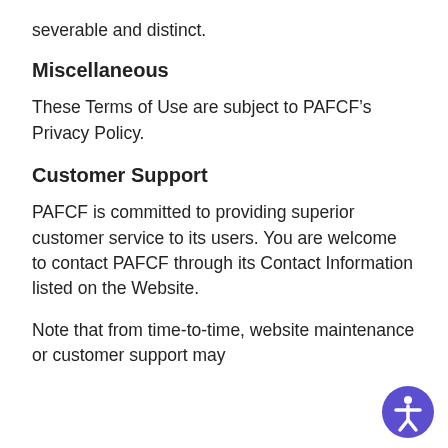severable and distinct.
Miscellaneous
These Terms of Use are subject to PAFCF’s Privacy Policy.
Customer Support
PAFCF is committed to providing superior customer service to its users. You are welcome to contact PAFCF through its Contact Information listed on the Website.
Note that from time-to-time, website maintenance or customer support may